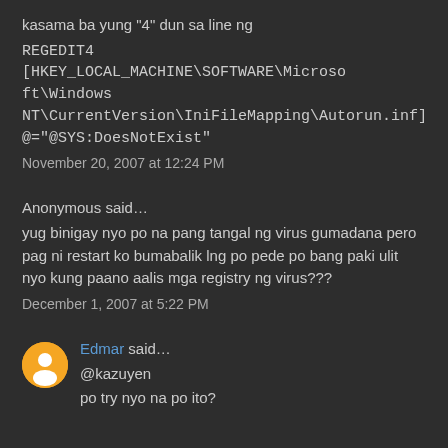kasama ba yung "4" dun sa line ng
REGEDIT4
[HKEY_LOCAL_MACHINE\SOFTWARE\Microsoft\Windows NT\CurrentVersion\IniFileMapping\Autorun.inf]
@="@SYS:DoesNotExist"
November 20, 2007 at 12:24 PM
Anonymous said...
yug binigay nyo po na pang tangal ng virus gumadana pero pag ni restart ko bumabalik lng po pede po bang paki ulit nyo kung paano aalis mga registry ng virus???
December 1, 2007 at 5:22 PM
Edmar said...
@kazuyen
po try nyo na po ito?